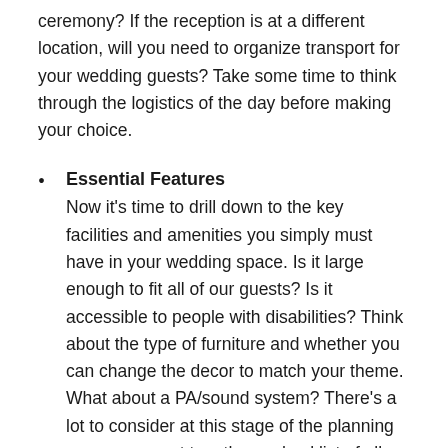ceremony? If the reception is at a different location, will you need to organize transport for your wedding guests? Take some time to think through the logistics of the day before making your choice.
Essential Features
Now it's time to drill down to the key facilities and amenities you simply must have in your wedding space. Is it large enough to fit all of our guests? Is it accessible to people with disabilities? Think about the type of furniture and whether you can change the decor to match your theme. What about a PA/sound system? There's a lot to consider at this stage of the planning process, so put together a checklist of all your must-haves.
Wedding Inspiration
Need some inspo to help you find your dream wedding venue? These beautiful ideas are a great place to start